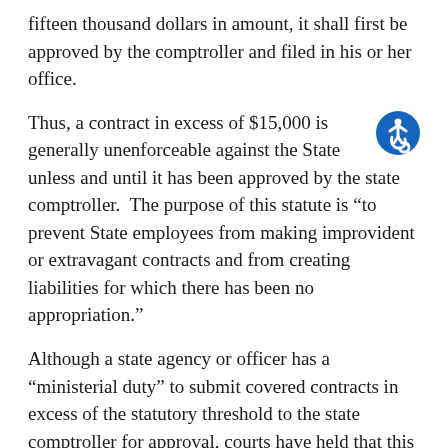fifteen thousand dollars in amount, it shall first be approved by the comptroller and filed in his or her office.
Thus, a contract in excess of $15,000 is generally unenforceable against the State unless and until it has been approved by the state comptroller.  The purpose of this statute is “to prevent State employees from making improvident or extravagant contracts and from creating liabilities for which there has been no appropriation.”
[Figure (illustration): Circular blue accessibility icon (wheelchair person) in the bottom-right area of the second paragraph]
Although a state agency or officer has a “ministerial duty” to submit covered contracts in excess of the statutory threshold to the state comptroller for approval, courts have held that this duty is not owed to the party contracting with the state. Thus, a state agency’s failure to submit a covered contract to the state comptroller and obtain the necessary approval ordinarily will not give rise to any liability.
Instead, the party contracting “is chargeable with knowledge